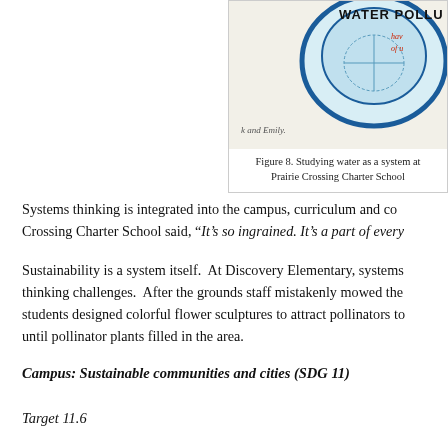[Figure (illustration): Student artwork showing a circular drawing related to water pollution, with handwritten text 'WATER POLLU...' and signatures including 'and Emily']
Figure 8. Studying water as a system at Prairie Crossing Charter School
Systems thinking is integrated into the campus, curriculum and com... Crossing Charter School said, “It’s so ingrained. It’s a part of every...
Sustainability is a system itself.  At Discovery Elementary, systems... thinking challenges.  After the grounds staff mistakenly mowed the... students designed colorful flower sculptures to attract pollinators to... until pollinator plants filled in the area.
Campus: Sustainable communities and cities (SDG 11)
Target 11.6